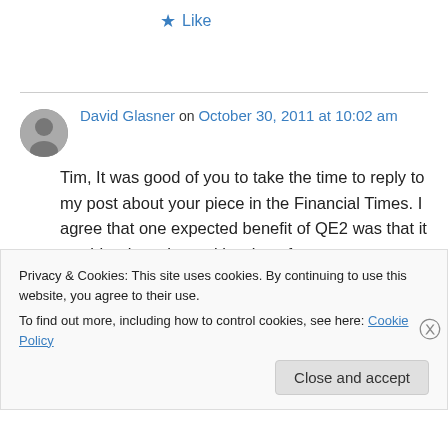★ Like
David Glasner on October 30, 2011 at 10:02 am
Tim, It was good of you to take the time to reply to my post about your piece in the Financial Times. I agree that one expected benefit of QE2 was that it would reduce the real burden of
Privacy & Cookies: This site uses cookies. By continuing to use this website, you agree to their use.
To find out more, including how to control cookies, see here: Cookie Policy
Close and accept